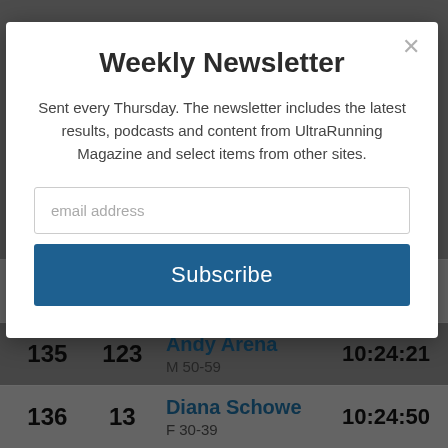[Figure (screenshot): A modal newsletter signup dialog overlaid on a race results table. The modal has a white card with title 'Weekly Newsletter', descriptive text, an email input field, and a Subscribe button. Behind the modal, a gray race results table shows three runners: Carrie Bentley (rank 134, bib 12, F 30-39, 10:24:16), Andy Arena (rank 135, bib 123, M 50-59, 10:24:21), Diana Schowe (rank 136, bib 13, F 30-39, 10:24:50). A close X button appears in the top right of the modal.]
Weekly Newsletter
Sent every Thursday. The newsletter includes the latest results, podcasts and content from UltraRunning Magazine and select items from other sites.
| Rank | Bib | Name / Category | Time |
| --- | --- | --- | --- |
| 134 | 12 | Carrie Bentley / F 30-39 | 10:24:16 |
| 135 | 123 | Andy Arena / M 50-59 | 10:24:21 |
| 136 | 13 | Diana Schowe / F 30-39 | 10:24:50 |